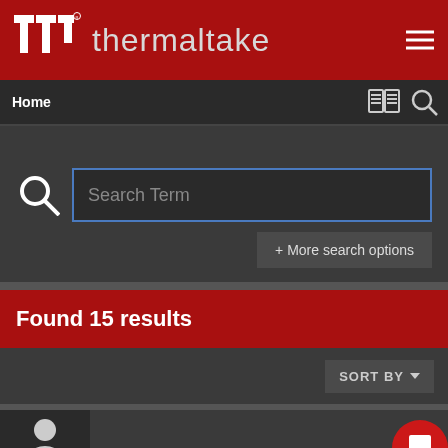[Figure (logo): Thermaltake logo with TT icon and brand name on red header bar]
Home
Search Term
+ More search options
Found 15 results
SORT BY